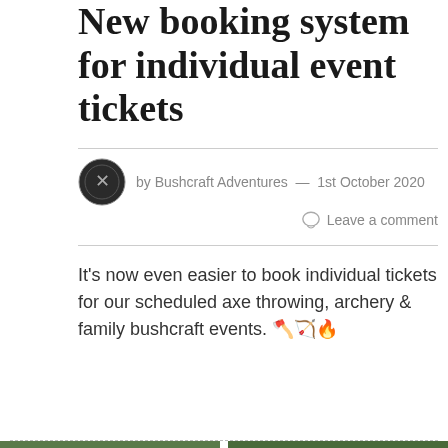New booking system for individual event tickets
by Bushcraft Adventures — 1st October 2020
Leave a comment
It's now even easier to book individual tickets for our scheduled axe throwing, archery & family bushcraft events. 🪓🏹🔥
FIND TICKETS
[Figure (photo): Two outdoor/nature photos shown side by side at the bottom of the page, partially visible, showing green foliage and outdoor scenes]